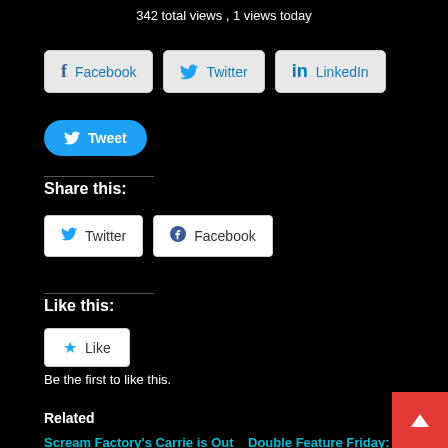342 total views , 1 views today
[Figure (other): Social share buttons: Facebook, Twitter, LinkedIn]
[Figure (other): Tweet button (blue rounded)]
Share this:
[Figure (other): Share buttons: Twitter and Facebook]
Like this:
[Figure (other): Like button (star icon)]
Be the first to like this.
Related
Scream Factory's Carrie is Out Today!
October 11, 2016
Double Feature Friday: Pet Sematary (1989) and Pet Sematary Two (1992)